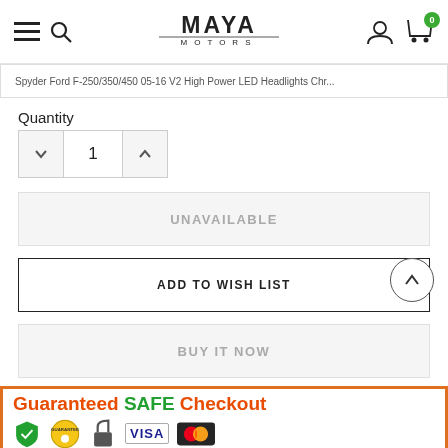Maya Motors navigation bar with hamburger menu, search, logo, user icon, and cart (0)
Spyder Ford F-250/350/450 05-16 V2 High Power LED Headlights Chr...
Quantity
1
UNAVAILABLE
ADD TO WISH LIST
BUY IT NOW
Social share icons: Facebook, Twitter, Pinterest, Grid, Bookmark, Favorite, Email, Plus
[Figure (infographic): Guaranteed SAFE Checkout banner with orange bracket border, orange/green text, and payment trust badges including Guarantee seal, lock icon, VISA and MasterCard logos]